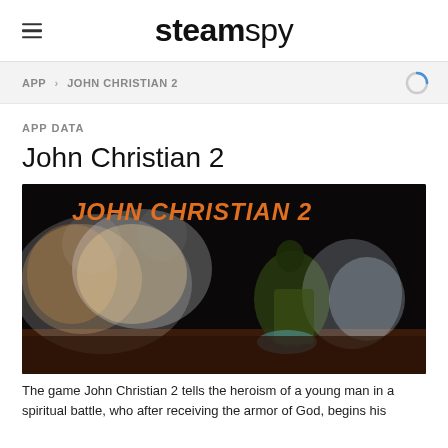steamspy
APP > JOHN CHRISTIAN 2
APP DATA
John Christian 2
[Figure (photo): Game cover image for John Christian 2: dark background with orange text 'JOHN CHRISTIAN 2' and a fantasy warrior character with fire effects]
The game John Christian 2 tells the heroism of a young man in a spiritual battle, who after receiving the armor of God, begins his